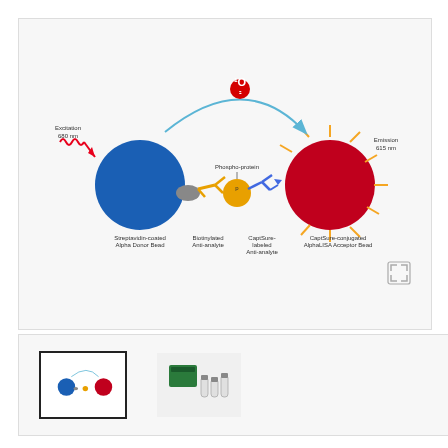[Figure (schematic): AlphaLISA assay principle diagram showing Streptavidin-coated Alpha Donor Bead excited at 680nm producing singlet oxygen that activates CaptSure-conjugated AlphaLISA Acceptor Bead emitting at 615nm. Components shown: large blue donor bead, arrow antibody (biotinylated anti-analyte), phospho-protein analyte, CaptSure-labeled anti-analyte antibody, and large red acceptor bead with emission rays. A curved arrow from blue bead to red bead shows singlet oxygen transfer.]
[Figure (photo): Small thumbnail of the AlphaLISA assay diagram (selected, has border)]
[Figure (photo): Small thumbnail photo of AlphaLISA kit product vials and boxes]
The AlphaLISA® SureFire® Ultra™ Human and Mouse Phospho-YAP (Ser127) assay is a sandwich immunoassay for quantitative